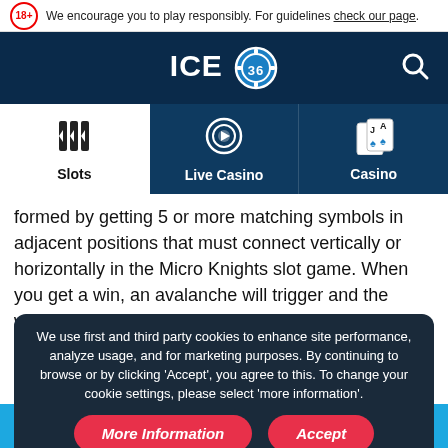We encourage you to play responsibly. For guidelines check our page.
[Figure (logo): ICE36 Casino logo with poker chip graphic and search icon on dark blue header]
[Figure (infographic): Navigation tabs: Slots (active, white background with slot machine icon), Live Casino (blue with roulette chip icon), Casino (blue with playing cards icon)]
formed by getting 5 or more matching symbols in adjacent positions that must connect vertically or horizontally in the Micro Knights slot game. When you get a win, an avalanche will trigger and the winning
We use first and third party cookies to enhance site performance, analyze usage, and for marketing purposes. By continuing to browse or by clicking 'Accept', you agree to this. To change your cookie settings, please select 'more information'.
More Information    Accept
Menu   Promos   Login   Play